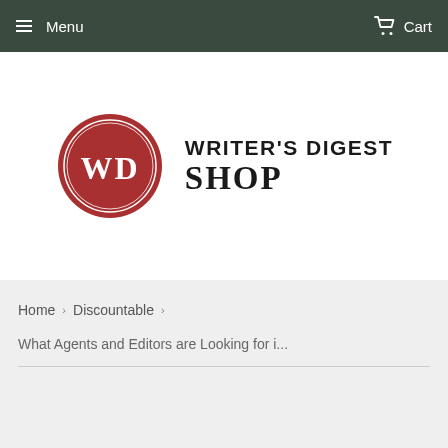Menu   Cart
[Figure (logo): Writer's Digest Shop logo: red circle with WD initials, next to text WRITER'S DIGEST SHOP]
Home › Discountable ›
What Agents and Editors are Looking for i...